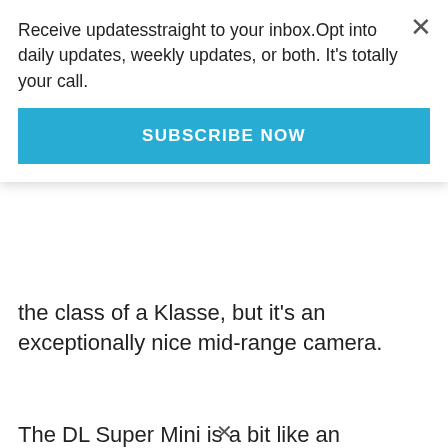Receive updatesstraight to your inbox.Opt into daily updates, weekly updates, or both. It's totally your call.
SUBSCRIBE NOW
the class of a Klasse, but it's an exceptionally nice mid-range camera.
The DL Super Mini is a bit like an upmarket MJU II: it tells you nothing, it is a simple point-and-shoot. It is one of the smallest compact cameras. It has a 28mm f2.5 lens. It almost has a premium feel to it. I